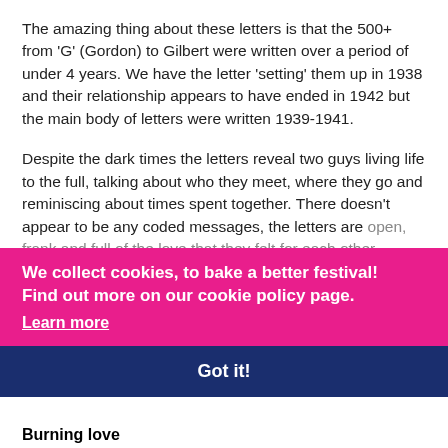The amazing thing about these letters is that the 500+ from 'G' (Gordon) to Gilbert were written over a period of under 4 years. We have the letter 'setting' them up in 1938 and their relationship appears to have ended in 1942 but the main body of letters were written 1939-1941.
Despite the dark times the letters reveal two guys living life to the full, talking about who they meet, where they go and reminiscing about times spent together. There doesn't appear to be any coded messages, the letters are open, frank and full of the love that they felt for each other.

Their story resonates with everyone that hears about them and they have the proven ability to make people more understanding, more accepting of love in all its many diverse forms.
[Figure (other): Cookie consent banner overlay with pink background. Text reads: 'We collect cookies, to bake a better festival! Find out more on our cookie policy page.' with a 'Learn more' link. Below is a dark navy blue 'Got it!' button.]
Burning love